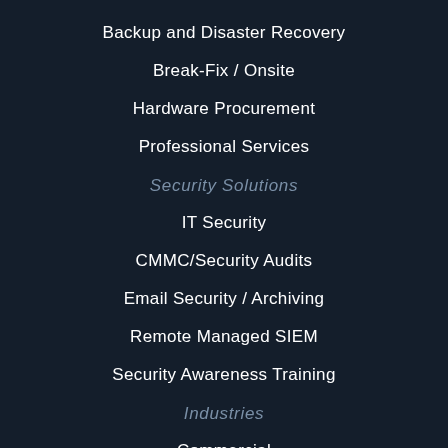Backup and Disaster Recovery
Break-Fix / Onsite
Hardware Procurement
Professional Services
Security Solutions
IT Security
CMMC/Security Audits
Email Security / Archiving
Remote Managed SIEM
Security Awareness Training
Industries
Commercial